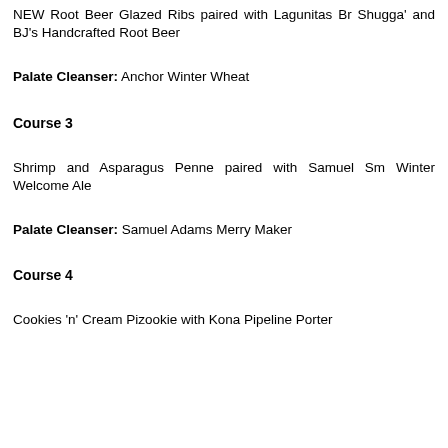NEW Root Beer Glazed Ribs paired with Lagunitas Br Shugga' and BJ’s Handcrafted Root Beer
Palate Cleanser: Anchor Winter Wheat
Course 3
Shrimp and Asparagus Penne paired with Samuel Sm Winter Welcome Ale
Palate Cleanser: Samuel Adams Merry Maker
Course 4
Cookies ‘n’ Cream Pizookie with Kona Pipeline Porter